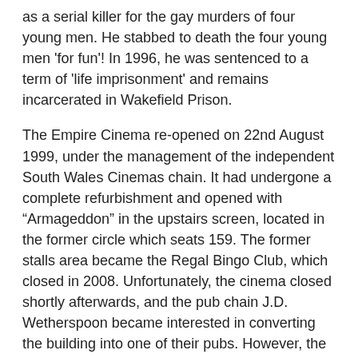as a serial killer for the gay murders of four young men. He stabbed to death the four young men 'for fun'! In 1996, he was sentenced to a term of 'life imprisonment' and remains incarcerated in Wakefield Prison.
The Empire Cinema re-opened on 22nd August 1999, under the management of the independent South Wales Cinemas chain. It had undergone a complete refurbishment and opened with “Armageddon” in the upstairs screen, located in the former circle which seats 159. The former stalls area became the Regal Bingo Club, which closed in 2008. Unfortunately, the cinema closed shortly afterwards, and the pub chain J.D. Wetherspoon became interested in converting the building into one of their pubs. However, the renovation costs proved to be too much and they backed out.
The building was taken over by the local Council, and it was renovated, with the former stalls area/bingo club being converted into a children’s play area, and the Empire Cinema re-opened in the former circle area in November 2012.
Contributed by Ken Roe